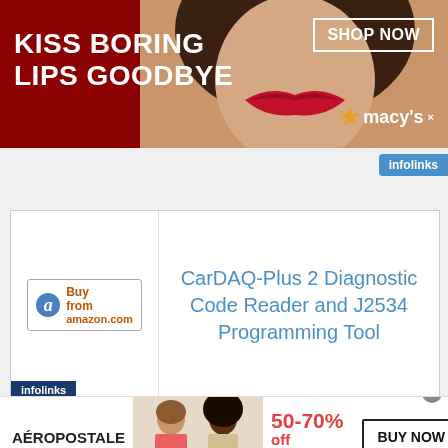[Figure (photo): Macy's advertisement: 'KISS BORING LIPS GOODBYE' with a woman's face and red lips, SHOP NOW button, and Macy's star logo on dark red background]
[Figure (infographic): Infolinks badge in blue]
[Figure (infographic): Amazon buy button with product title: CarDAQ-Plus 2 Diagnostic Code Reader and J2534 Programming Tool]
CarDAQ-Plus 2 Diagnostic Code Reader and J2534 Programming Tool
[Figure (infographic): Aeropostale ad: 50-70% off Everything! BUY NOW with models photo]